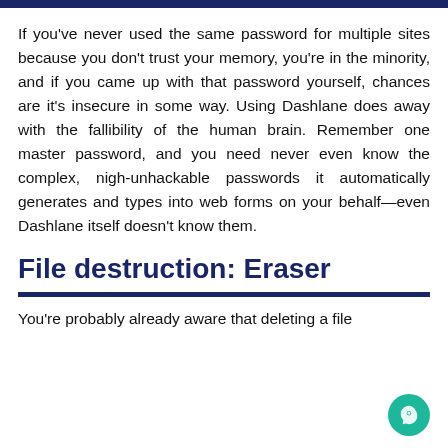If you've never used the same password for multiple sites because you don't trust your memory, you're in the minority, and if you came up with that password yourself, chances are it's insecure in some way. Using Dashlane does away with the fallibility of the human brain. Remember one master password, and you need never even know the complex, nigh-unhackable passwords it automatically generates and types into web forms on your behalf—even Dashlane itself doesn't know them.
File destruction: Eraser
You're probably already aware that deleting a file